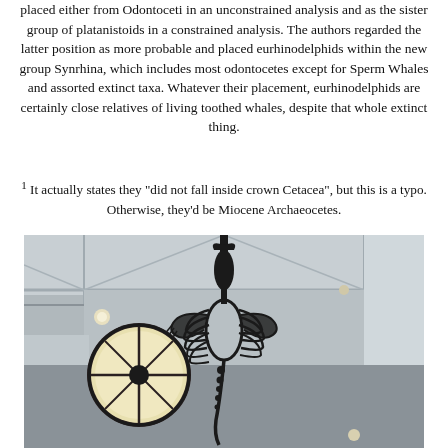placed either from Odontoceti in an unconstrained analysis and as the sister group of platanistoids in a constrained analysis. The authors regarded the latter position as more probable and placed eurhinodelphids within the new group Synrhina, which includes most odontocetes except for Sperm Whales and assorted extinct taxa. Whatever their placement, eurhinodelphids are certainly close relatives of living toothed whales, despite that whole extinct thing.
1 It actually states they "did not fall inside crown Cetacea", but this is a typo. Otherwise, they'd be Miocene Archaeocetes.
[Figure (photo): Photograph of a dark skeletal fossil or replica of a whale/cetacean skeleton hanging from a museum ceiling, viewed from below. A circular illuminated light fixture is visible on the left side. The skeleton shows ribs, flippers, and elongated skull suspended against a white ceiling with architectural details.]